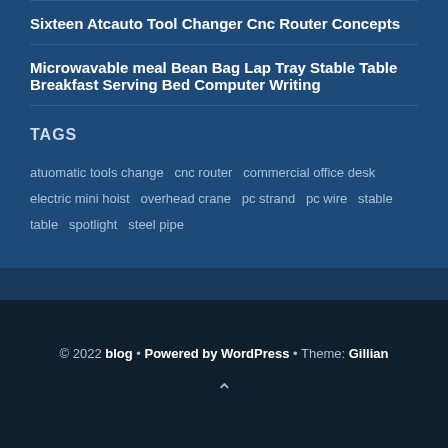Sixteen Atcauto Tool Changer Cnc Router Concepts
Microwavable meal Bean Bag Lap Tray Stable Table Breakfast Serving Bed Computer Writing
TAGS
atuomatic tools change  cnc router  commercial office desk  electric mini hoist  overhead crane  pc strand  pc wire  stable table  spotlight  steel pipe
© 2022 blog • Powered by WordPress • Theme: Gillian